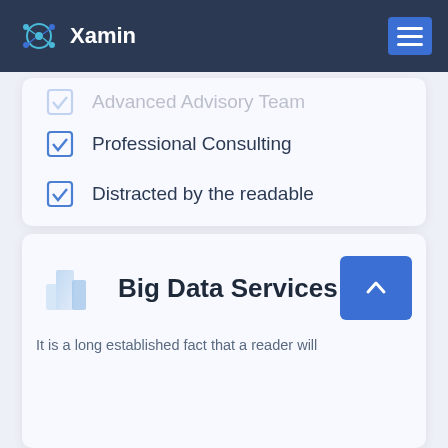Xamin
Advanced Advisory Team
Professional Consulting
Distracted by the readable
READ MORE »
Big Data Services
It is a long established fact that a reader will